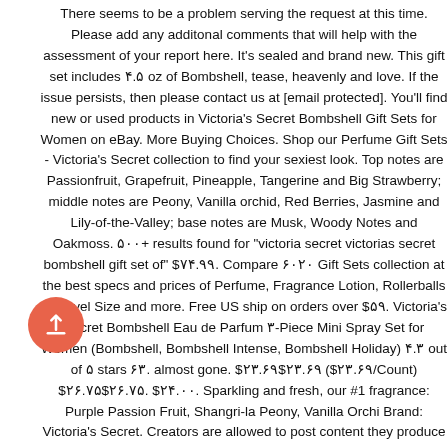There seems to be a problem serving the request at this time. Please add any additonal comments that will help with the assessment of your report here. It's sealed and brand new. This gift set includes ۴.۵ oz of Bombshell, tease, heavenly and love. If the issue persists, then please contact us at [email protected]. You'll find new or used products in Victoria's Secret Bombshell Gift Sets for Women on eBay. More Buying Choices. Shop our Perfume Gift Sets - Victoria's Secret collection to find your sexiest look. Top notes are Passionfruit, Grapefruit, Pineapple, Tangerine and Big Strawberry; middle notes are Peony, Vanilla orchid, Red Berries, Jasmine and Lily-of-the-Valley; base notes are Musk, Woody Notes and Oakmoss. ۵۰۰+ results found for "victoria secret victorias secret bombshell gift set of" $۷۴.۹۹. Compare ۶۰۲۰ Gift Sets collection at the best specs and prices of Perfume, Fragrance Lotion, Rollerballs & Travel Size and more. Free US ship on orders over $۵۹. Victoria's Secret Bombshell Eau de Parfum ۳-Piece Mini Spray Set for Women (Bombshell, Bombshell Intense, Bombshell Holiday) ۴.۳ out of ۵ stars ۶۳. almost gone. $۲۳.۶۹$۲۳.۶۹ ($۲۳.۶۹/Count) $۲۶.۷۵$۲۶.۷۵. $۲۴.۰۰. Sparkling and fresh, our #1 fragrance: Purple Passion Fruit, Shangri-la Peony, Vanilla Orchi Brand: Victoria's Secret. Creators are allowed to post content they produce to the platform, so long as they comply with our, https://www.youtube.com/channel/UCiVR9fjJ9MHOAIjonlV۶۵Eg,